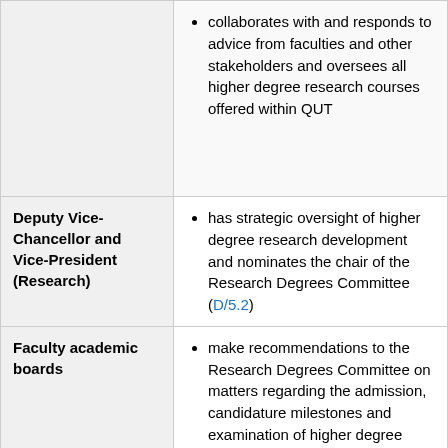| Role | Responsibilities |
| --- | --- |
| (continued) | collaborates with and responds to advice from faculties and other stakeholders and oversees all higher degree research courses offered within QUT |
| Deputy Vice-Chancellor and Vice-President (Research) | has strategic oversight of higher degree research development and nominates the chair of the Research Degrees Committee (D/5.2) |
| Faculty academic boards | make recommendations to the Research Degrees Committee on matters regarding the admission, candidature milestones and examination of higher degree students; recommend and approve research curriculum developments in accordance with the policy for curriculum design, approval and accreditation (C/4.1) |
| Faculty associate deans (research) or nominee | ensure effective coordination of higher degree research courses and administration |